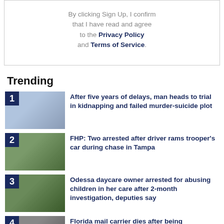By clicking Sign Up, I confirm that I have read and agree to the Privacy Policy and Terms of Service.
Trending
After five years of delays, man heads to trial in kidnapping and failed murder-suicide plot
FHP: Two arrested after driver rams trooper's car during chase in Tampa
Odessa daycare owner arrested for abusing children in her care after 2-month investigation, deputies say
Florida mail carrier dies after being